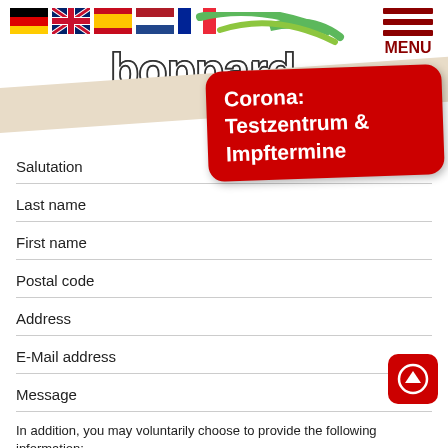[Figure (screenshot): Header with language flag icons (German, UK, Spanish, Dutch, French), Boppard am Rhein logo with green brush strokes and blue underline, hamburger menu icon with MENU label in dark red, beige diagonal band, and red Corona Testzentrum & Impftermine card]
Salutation
Last name
First name
Postal code
Address
E-Mail address
Message
In addition, you may voluntarily choose to provide the following information:
Telephone number